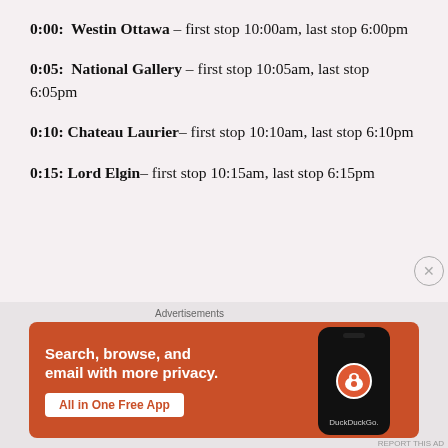0:00:  Westin Ottawa – first stop 10:00am, last stop 6:00pm
0:05:  National Gallery – first stop 10:05am, last stop 6:05pm
0:10: Chateau Laurier– first stop 10:10am, last stop 6:10pm
0:15: Lord Elgin– first stop 10:15am, last stop 6:15pm
[Figure (screenshot): DuckDuckGo advertisement banner. Orange background with white text: 'Search, browse, and email with more privacy. All in One Free App'. Shows a smartphone with the DuckDuckGo logo.]